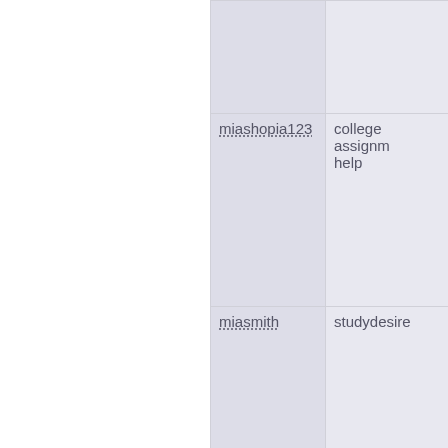| Username | Content |
| --- | --- |
|  |  |
| miashopia123 | college assignm help |
| miasmith | studydesire |
| MicahAmumn | ????? ????? ????????? |
| Micahfw |  |
| Michaelamall | Nota gub |